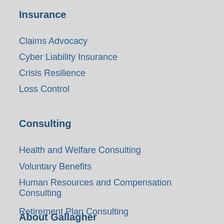Insurance
Claims Advocacy
Cyber Liability Insurance
Crisis Resilience
Loss Control
Consulting
Health and Welfare Consulting
Voluntary Benefits
Human Resources and Compensation Consulting
Retirement Plan Consulting
About Gallagher